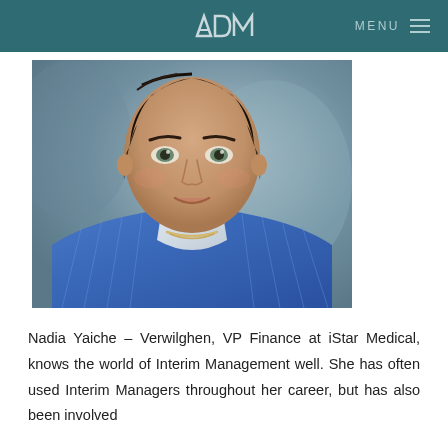ADM  MENU
[Figure (photo): Professional headshot of a woman with short dark hair, wearing a blue pinstripe blazer and gold necklace, smiling at the camera against a blurred background.]
Nadia Yaiche – Verwilghen, VP Finance at iStar Medical, knows the world of Interim Management well. She has often used Interim Managers throughout her career, but has also been involved